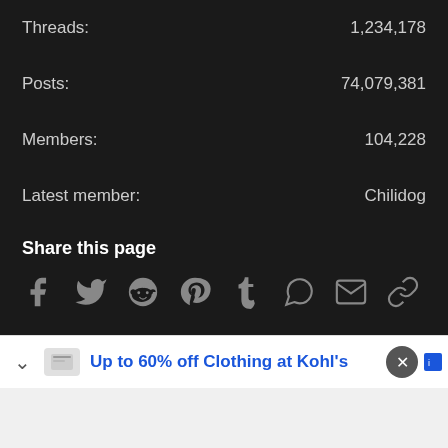Threads: 1,234,178
Posts: 74,079,381
Members: 104,228
Latest member: Chilidog
Share this page
[Figure (infographic): Social share icons: Facebook, Twitter, Reddit, Pinterest, Tumblr, WhatsApp, Email, Link]
Parts of this site powered by XenForo add-ons from DragonByte™ ©2011-2022 DragonByte Technologies Ltd. (Details)
Design by: Pixel Exit | Add-ons by ThemeHouse | Media embeds via s9e/MediaSites
Up to 60% off Clothing at Kohl's